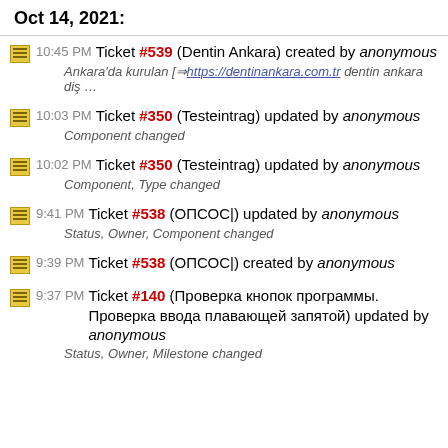Oct 14, 2021:
10:45 PM Ticket #539 (Dentin Ankara) created by anonymous — Ankara'da kurulan [⇒ https://dentinankara.com.tr dentin ankara diş …
10:03 PM Ticket #350 (Testeintrag) updated by anonymous — Component changed
10:02 PM Ticket #350 (Testeintrag) updated by anonymous — Component, Type changed
9:41 PM Ticket #538 (ОПСОС|) updated by anonymous — Status, Owner, Component changed
9:39 PM Ticket #538 (ОПСОС|) created by anonymous
9:37 PM Ticket #140 (Проверка кнопок программы. Проверка ввода плавающей запятой) updated by anonymous — Status, Owner, Milestone changed